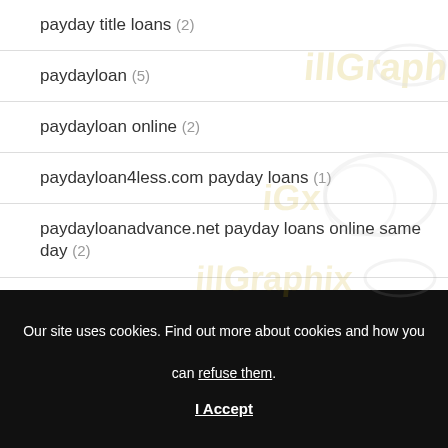payday title loans (2)
paydayloan (5)
paydayloan online (2)
paydayloan4less.com payday loans (1)
paydayloanadvance.net payday loans online same day (2)
Our site uses cookies. Find out more about cookies and how you can refuse them.
I Accept